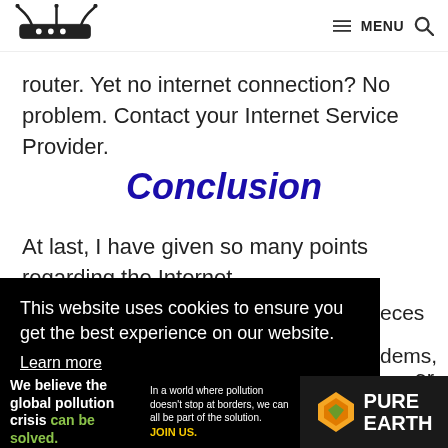Router logo | MENU (search icon)
router. Yet no internet connection? No problem. Contact your Internet Service Provider.
Conclusion
At last, I have given so many points regarding the Internet
This website uses cookies to ensure you get the best experience on our website. Learn more
Got it!
[Figure (infographic): Pure Earth advertisement banner: 'We believe the global pollution crisis can be solved.' with Pure Earth logo]